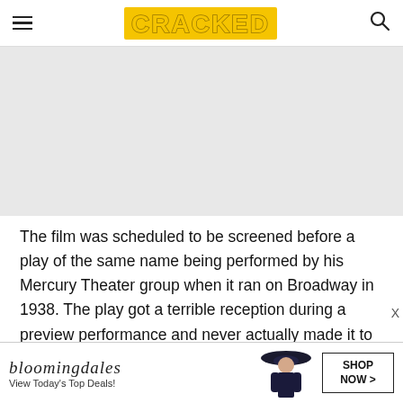CRACKED
[Figure (photo): Gray placeholder image area, likely a film or theater related photograph]
The film was scheduled to be screened before a play of the same name being performed by his Mercury Theater group when it ran on Broadway in 1938. The play got a terrible reception during a preview performance and never actually made it to Broadway
[Figure (other): Bloomingdale's advertisement banner with a woman in a hat. Text: bloomingdales, View Today's Top Deals!, SHOP NOW >]